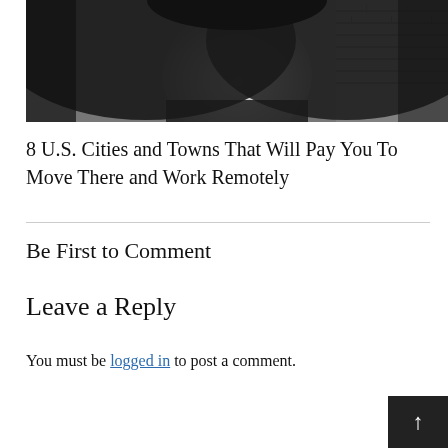[Figure (photo): Black and white portrait photo of a woman with long dark hair, smiling, in front of a brick wall]
8 U.S. Cities and Towns That Will Pay You To Move There and Work Remotely
Be First to Comment
Leave a Reply
You must be logged in to post a comment.